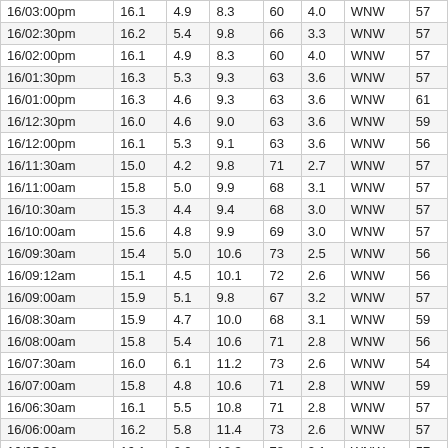| 16/03:00pm | 16.1 | 4.9 | 8.3 | 60 | 4.0 | WNW | 57 |
| 16/02:30pm | 16.2 | 5.4 | 9.8 | 66 | 3.3 | WNW | 57 |
| 16/02:00pm | 16.1 | 4.9 | 8.3 | 60 | 4.0 | WNW | 57 |
| 16/01:30pm | 16.3 | 5.3 | 9.3 | 63 | 3.6 | WNW | 57 |
| 16/01:00pm | 16.3 | 4.6 | 9.3 | 63 | 3.6 | WNW | 61 |
| 16/12:30pm | 16.0 | 4.6 | 9.0 | 63 | 3.6 | WNW | 59 |
| 16/12:00pm | 16.1 | 5.3 | 9.1 | 63 | 3.6 | WNW | 56 |
| 16/11:30am | 15.0 | 4.2 | 9.8 | 71 | 2.7 | WNW | 57 |
| 16/11:00am | 15.8 | 5.0 | 9.9 | 68 | 3.1 | WNW | 57 |
| 16/10:30am | 15.3 | 4.4 | 9.4 | 68 | 3.0 | WNW | 57 |
| 16/10:00am | 15.6 | 4.8 | 9.9 | 69 | 3.0 | WNW | 57 |
| 16/09:30am | 15.4 | 5.0 | 10.6 | 73 | 2.5 | WNW | 56 |
| 16/09:12am | 15.1 | 4.5 | 10.1 | 72 | 2.6 | WNW | 56 |
| 16/09:00am | 15.9 | 5.1 | 9.8 | 67 | 3.2 | WNW | 57 |
| 16/08:30am | 15.9 | 4.7 | 10.0 | 68 | 3.1 | WNW | 59 |
| 16/08:00am | 15.8 | 5.4 | 10.6 | 71 | 2.8 | WNW | 56 |
| 16/07:30am | 16.0 | 6.1 | 11.2 | 73 | 2.6 | WNW | 54 |
| 16/07:00am | 15.8 | 4.8 | 10.6 | 71 | 2.8 | WNW | 59 |
| 16/06:30am | 16.1 | 5.5 | 10.8 | 71 | 2.8 | WNW | 57 |
| 16/06:00am | 16.2 | 5.8 | 11.4 | 73 | 2.6 | WNW | 57 |
| 16/05:30am | 16.1 | 6.0 | 12.3 | 78 | 2.1 | WNW | 57 |
| 16/05:00am | 16.1 | 6.1 | 12.8 | 81 | 1.8 | WNW | 57 |
| 16/04:30am | 16.2 | 6.2 | 12.6 | 79 | 2.0 | WNW | 57 |
| 16/04:00am | 16.1 | 8.0 | 13.2 | 83 | 1.6 | WNW | 48 |
| 16/03:30am | 16.3 | 7.3 | 12.8 | 80 | 1.9 | WNW | 52 |